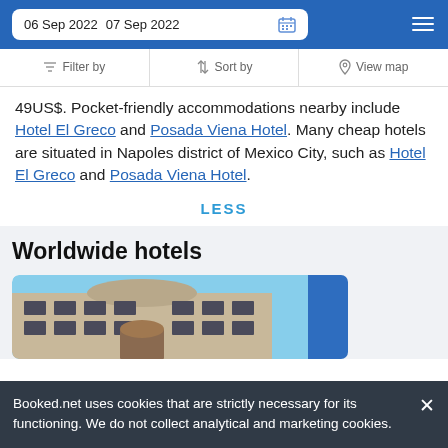06 Sep 2022   07 Sep 2022
Filter by   Sort by   View map
49US$. Pocket-friendly accommodations nearby include Hotel El Greco and Posada Viena Hotel. Many cheap hotels are situated in Napoles district of Mexico City, such as Hotel El Greco and Posada Viena Hotel.
LESS
Worldwide hotels
[Figure (photo): Hotel building exterior photo]
Booked.net uses cookies that are strictly necessary for its functioning. We do not collect analytical and marketing cookies.